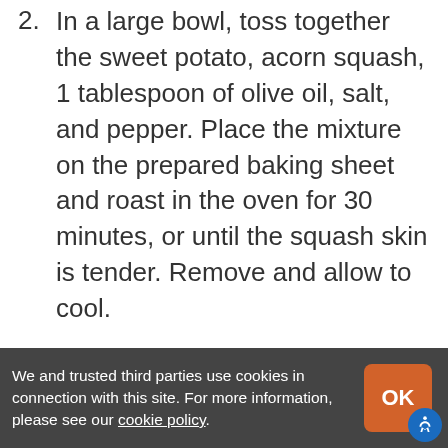2. In a large bowl, toss together the sweet potato, acorn squash, 1 tablespoon of olive oil, salt, and pepper. Place the mixture on the prepared baking sheet and roast in the oven for 30 minutes, or until the squash skin is tender. Remove and allow to cool.
3. Meanwhile, heat a large nonstick skillet over medium heat and brown the breakfast sausage until it begins to crisp, about 5 minutes, then transfer the sausage to a plate and wipe the skillet clean.
4. Add the remaining 1 tablespoon of olive oil
We and trusted third parties use cookies in connection with this site. For more information, please see our cookie policy.